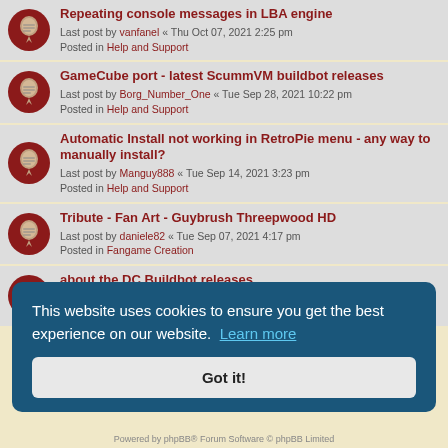Repeating console messages in LBA engine
Last post by vanfanel « Thu Oct 07, 2021 2:25 pm
Posted in Help and Support
GameCube port - latest ScummVM buildbot releases
Last post by Borg_Number_One « Tue Sep 28, 2021 10:22 pm
Posted in Help and Support
Automatic Install not working in RetroPie menu - any way to manually install?
Last post by Manguy888 « Tue Sep 14, 2021 3:23 pm
Posted in Help and Support
Tribute - Fan Art - Guybrush Threepwood HD
Last post by daniele82 « Tue Sep 07, 2021 4:17 pm
Posted in Fangame Creation
about the DC Buildbot releases
Last post by kremiso « Sun Sep 05, 2021 11:01 am
Posted in Dreamcast Port
This website uses cookies to ensure you get the best experience on our website. Learn more
Got it!
Powered by phpBB® Forum Software © phpBB Limited